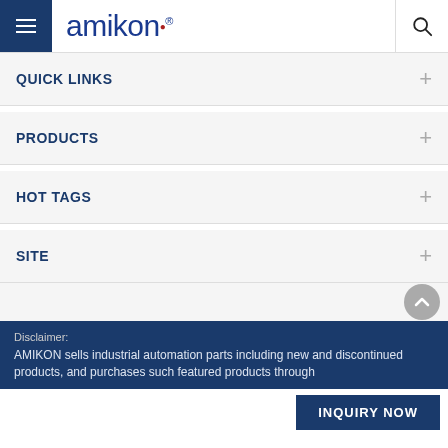amikon
QUICK LINKS
PRODUCTS
HOT TAGS
SITE
Disclaimer:
AMIKON sells industrial automation parts including new and discontinued products, and purchases such featured products through
INQUIRY NOW